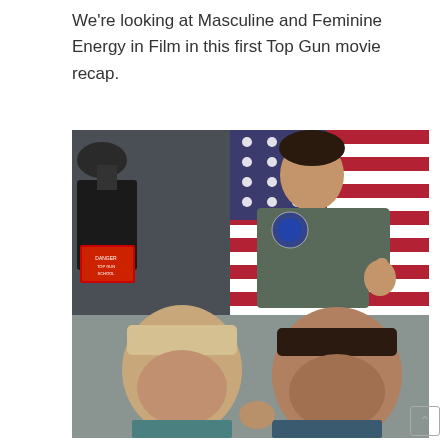We're looking at Masculine and Feminine Energy in Film in this first Top Gun movie recap.
[Figure (photo): Composite image with two photos from Top Gun. Top photo: Tom Cruise in a military flight suit giving a thumbs up in a fighter jet cockpit, with an American flag in the background. Overlaid bold white text with black stroke reads 'Masculine & Feminine Energies in Film'. Bottom photo: Two men in military flight suits facing each other close-up, appearing confrontational.]